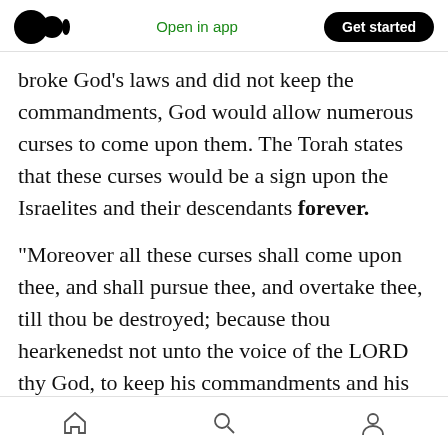Open in app | Get started
broke God’s laws and did not keep the commandments, God would allow numerous curses to come upon them. The Torah states that these curses would be a sign upon the Israelites and their descendants forever.
“Moreover all these curses shall come upon thee, and shall pursue thee, and overtake thee, till thou be destroyed; because thou hearkenedst not unto the voice of the LORD thy God, to keep his commandments and his statutes which he commanded thee: 46And they shall be upon
Home | Search | Profile